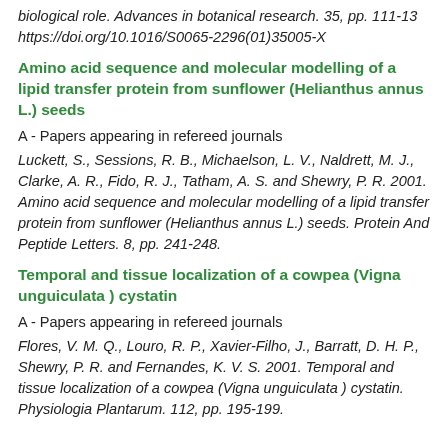biological role. Advances in botanical research. 35, pp. 111-13 https://doi.org/10.1016/S0065-2296(01)35005-X
Amino acid sequence and molecular modelling of a lipid transfer protein from sunflower (Helianthus annus L.) seeds
A - Papers appearing in refereed journals
Luckett, S., Sessions, R. B., Michaelson, L. V., Naldrett, M. J., Clarke, A. R., Fido, R. J., Tatham, A. S. and Shewry, P. R. 2001. Amino acid sequence and molecular modelling of a lipid transfer protein from sunflower (Helianthus annus L.) seeds. Protein And Peptide Letters. 8, pp. 241-248.
Temporal and tissue localization of a cowpea (Vigna unguiculata ) cystatin
A - Papers appearing in refereed journals
Flores, V. M. Q., Louro, R. P., Xavier-Filho, J., Barratt, D. H. P., Shewry, P. R. and Fernandes, K. V. S. 2001. Temporal and tissue localization of a cowpea (Vigna unguiculata ) cystatin. Physiologia Plantarum. 112, pp. 195-199.